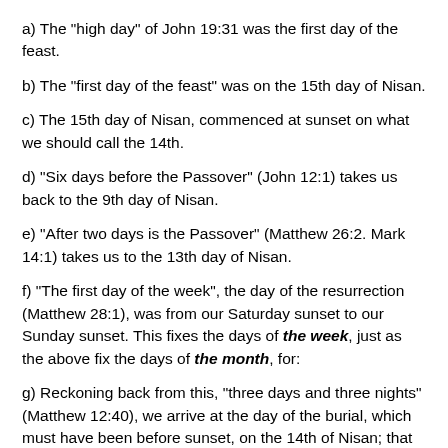a) The "high day" of John 19:31 was the first day of the feast.
b) The "first day of the feast" was on the 15th day of Nisan.
c) The 15th day of Nisan, commenced at sunset on what we should call the 14th.
d) "Six days before the Passover" (John 12:1) takes us back to the 9th day of Nisan.
e) "After two days is the Passover" (Matthew 26:2. Mark 14:1) takes us to the 13th day of Nisan.
f) "The first day of the week", the day of the resurrection (Matthew 28:1), was from our Saturday sunset to our Sunday sunset. This fixes the days of the week, just as the above fix the days of the month, for:
g) Reckoning back from this, "three days and three nights" (Matthew 12:40), we arrive at the day of the burial, which must have been before sunset, on the 14th of Nisan; that is to say, before our Wednesday sunset.